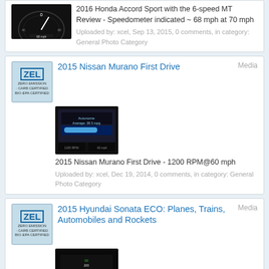[Figure (screenshot): Dark speedometer gauge thumbnail]
2016 Honda Accord Sport with the 6-speed MT Review - Speedometer indicated ~ 68 mph at 70 mph
Uploaded by: xcel, Sep 13, 2015, 0 comments, in category: General Photo Category
2015 Nissan Murano First Drive
[Figure (screenshot): Car dashboard display showing RPM and speed info]
2015 Nissan Murano First Drive - 1200 RPM@60 mph
Uploaded by: xcel, Dec 19, 2014, 0 comments, in category: General Photo Category
2015 Hyundai Sonata ECO: Planes, Trains, Automobiles and Rockets
[Figure (screenshot): Dark dashboard instrument cluster photo]
2015 Hyundai Sonata ECO: Planes, Trains, Automobiles and Rockets